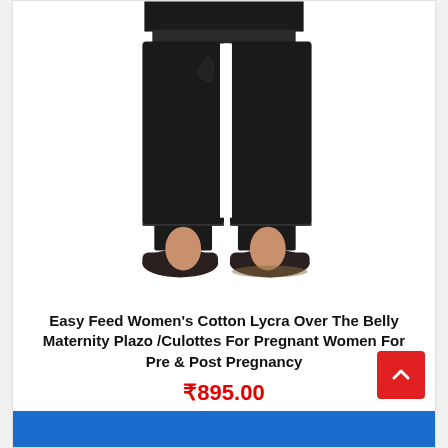[Figure (photo): Product photo of black wide-leg maternity culottes/plazo pants worn by a woman, showing from waist down, with black flat shoes.]
Easy Feed Women's Cotton Lycra Over The Belly Maternity Plazo /Culottes For Pregnant Women For Pre & Post Pregnancy
₹895.00